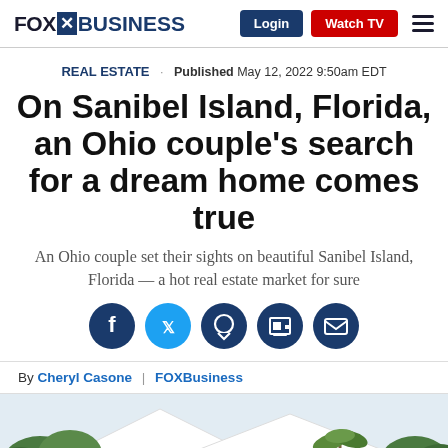FOX BUSINESS | Login | Watch TV
REAL ESTATE · Published May 12, 2022 9:50am EDT
On Sanibel Island, Florida, an Ohio couple's search for a dream home comes true
An Ohio couple set their sights on beautiful Sanibel Island, Florida — a hot real estate market for sure
[Figure (infographic): Social media sharing icons: Facebook, Twitter, Comments, Print, Email]
By Cheryl Casone | FOXBusiness
[Figure (photo): Partial view of a home on Sanibel Island with a white roof and lush green tropical vegetation]